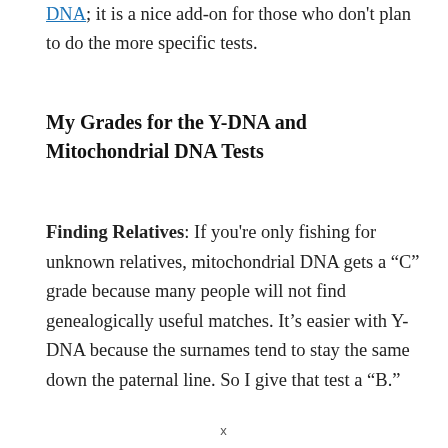DNA; it is a nice add-on for those who don't plan to do the more specific tests.
My Grades for the Y-DNA and Mitochondrial DNA Tests
Finding Relatives: If you're only fishing for unknown relatives, mitochondrial DNA gets a “C” grade because many people will not find genealogically useful matches. It's easier with Y-DNA because the surnames tend to stay the same down the paternal line. So I give that test a “B.”
x